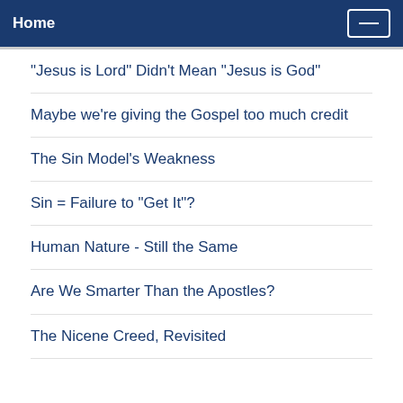Home
"Jesus is Lord" Didn't Mean "Jesus is God"
Maybe we're giving the Gospel too much credit
The Sin Model's Weakness
Sin = Failure to "Get It"?
Human Nature - Still the Same
Are We Smarter Than the Apostles?
The Nicene Creed, Revisited